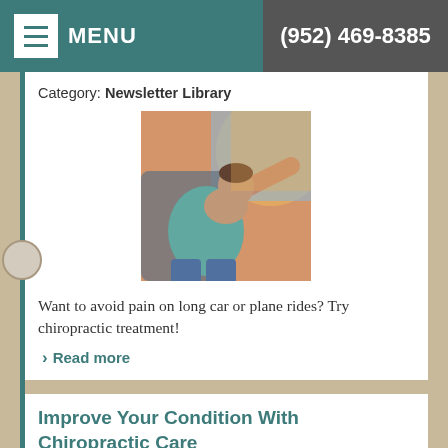MENU | (952) 469-8385
Category: Newsletter Library
[Figure (photo): Person in car reaching back, appearing to be in pain or stretching, warm sunlit interior]
Want to avoid pain on long car or plane rides? Try chiropractic treatment!
> Read more
Improve Your Condition With Chiropractic Care
Category: Newsletter Library
[Figure (photo): Chiropractor treating a patient, applying hands to neck/shoulder area]